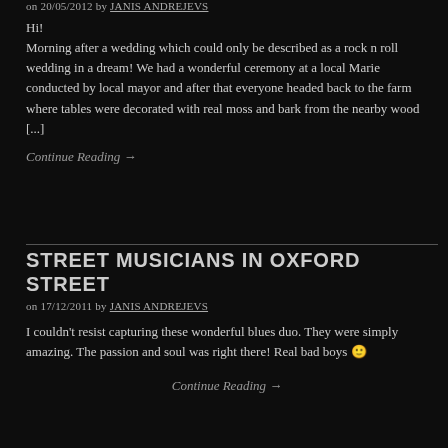on 20/05/2012 by JANIS ANDREJEVS
Hi!
Morning after a wedding which could only be described as a rock n roll wedding in a dream! We had a wonderful ceremony at a local Marie conducted by local mayor and after that everyone headed back to the farm where tables were decorated with real moss and bark from the nearby wood [...]
Continue Reading →
STREET MUSICIANS IN OXFORD STREET
on 17/12/2011 by JANIS ANDREJEVS
I couldn't resist capturing these wonderful blues duo. They were simply amazing. The passion and soul was right there! Real bad boys 🙂
Continue Reading →